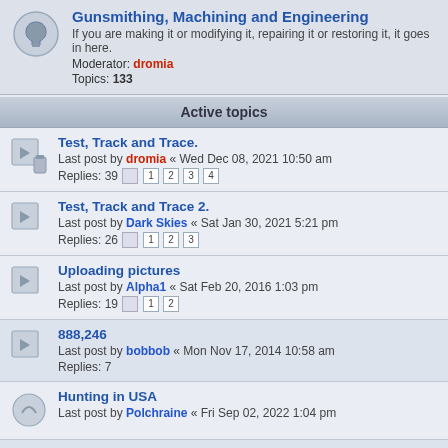Gunsmithing, Machining and Engineering
If you are making it or modifying it, repairing it or restoring it, it goes in here.
Moderator: dromia
Topics: 133
Active topics
Test, Track and Trace.
Last post by dromia « Wed Dec 08, 2021 10:50 am
Replies: 39  1 2 3 4
Test, Track and Trace 2.
Last post by Dark Skies « Sat Jan 30, 2021 5:21 pm
Replies: 26  1 2 3
Uploading pictures
Last post by Alpha1 « Sat Feb 20, 2016 1:03 pm
Replies: 19  1 2
888,246
Last post by bobbob « Mon Nov 17, 2014 10:58 am
Replies: 7
Hunting in USA
Last post by Polchraine « Fri Sep 02, 2022 1:04 pm
Fight back against bullies | Mr Inbetween
Last post by Chuck « Thu Sep 01, 2022 8:42 am
Beaters rate of pay
Last post by nic « Wed Aug 31, 2022 6:19 am
Replies: 15  1 2